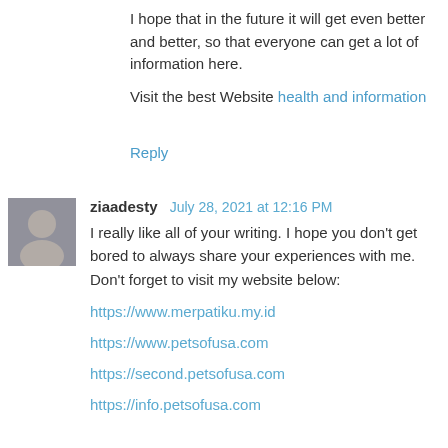I hope that in the future it will get even better and better, so that everyone can get a lot of information here.
Visit the best Website health and information
Reply
ziaadesty July 28, 2021 at 12:16 PM
I really like all of your writing. I hope you don't get bored to always share your experiences with me. Don't forget to visit my website below:
https://www.merpatiku.my.id
https://www.petsofusa.com
https://second.petsofusa.com
https://info.petsofusa.com